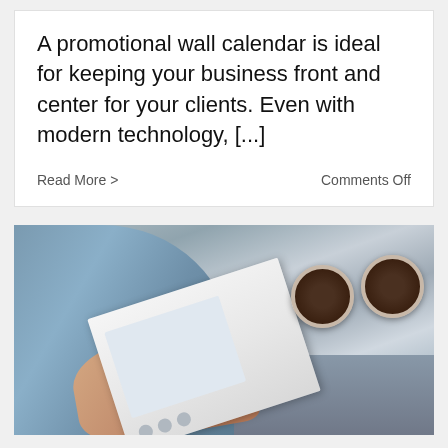A promotional wall calendar is ideal for keeping your business front and center for your clients. Even with modern technology, [...]
Read More >
Comments Off
[Figure (photo): Person reading/browsing a printed catalog or magazine at a table with two cups of coffee]